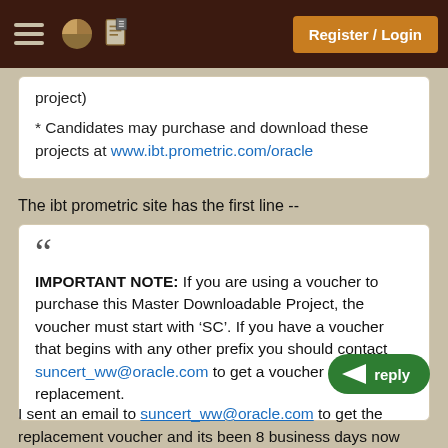Register / Login
project)
* Candidates may purchase and download these projects at www.ibt.prometric.com/oracle
The ibt prometric site has the first line --
IMPORTANT NOTE: If you are using a voucher to purchase this Master Downloadable Project, the voucher must start with ‘SC’. If you have a voucher that begins with any other prefix you should contact suncert_ww@oracle.com to get a voucher replacement.
I sent an email to suncert_ww@oracle.com to get the replacement voucher and its been 8 business days now